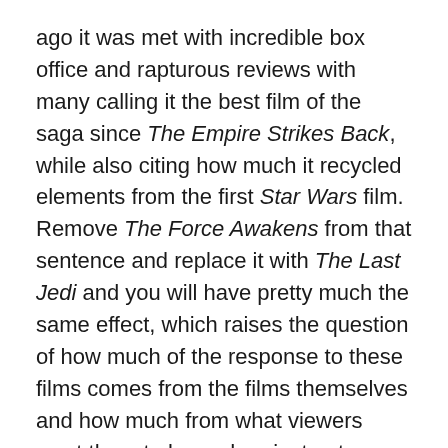ago it was met with incredible box office and rapturous reviews with many calling it the best film of the saga since The Empire Strikes Back, while also citing how much it recycled elements from the first Star Wars film. Remove The Force Awakens from that sentence and replace it with The Last Jedi and you will have pretty much the same effect, which raises the question of how much of the response to these films comes from the films themselves and how much from what viewers want them to be and project onto them. This isn't merely an academic question either; it's the central dramatic conflict of The Last Jedi itself.
Picking up seconds after the end of The Force Awakens, we find young Rey (Ridley) face to face with the titular Last